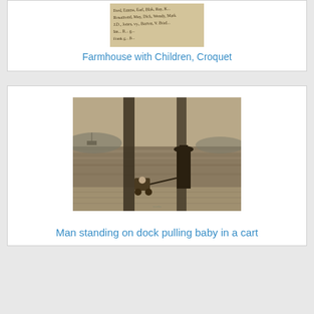[Figure (photo): Handwritten note or inscription, possibly back of a photograph]
Farmhouse with Children, Croquet
[Figure (photo): Sepia-toned photograph of a man standing on a dock pulling a baby in a cart, with water and hills in the background]
Man standing on dock pulling baby in a cart